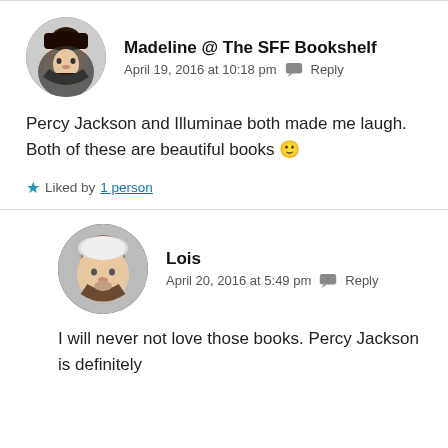[Figure (photo): Circular avatar of Madeline, a woman with dark hair and bangs]
Madeline @ The SFF Bookshelf
April 19, 2016 at 10:18 pm  Reply
Percy Jackson and Illuminae both made me laugh. Both of these are beautiful books 🙂
Liked by 1 person
[Figure (photo): Circular avatar of Lois, a woman wearing a white hat]
Lois
April 20, 2016 at 5:49 pm  Reply
I will never not love those books. Percy Jackson is definitely